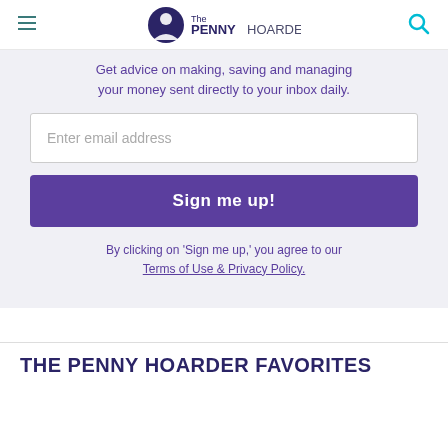The Penny Hoarder
Get advice on making, saving and managing your money sent directly to your inbox daily.
Enter email address
Sign me up!
By clicking on 'Sign me up,' you agree to our Terms of Use & Privacy Policy.
THE PENNY HOARDER FAVORITES